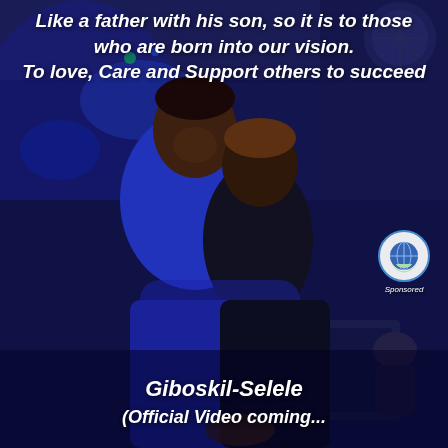[Figure (photo): Two people hugging and smiling in a dimly lit venue with blue lighting. The taller person on the left wears a blue sweater, and the shorter person on the right wears a dark top. Background shows bar/event venue equipment and seating.]
Like a father with his son, so it is to those who are born into our vision. To love, Care and Support others to succeed
Sponsored
Giboskil-Selele
(Official Video coming...